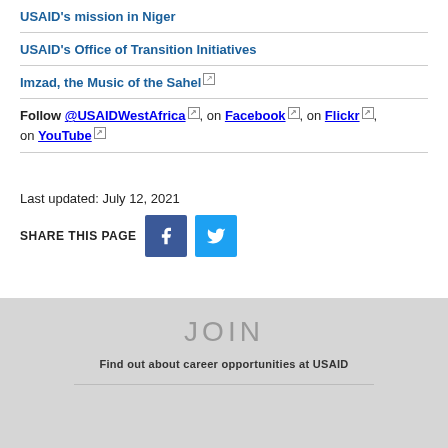USAID's mission in Niger
USAID's Office of Transition Initiatives
Imzad, the Music of the Sahel
Follow @USAIDWestAfrica, on Facebook, on Flickr, on YouTube
Last updated: July 12, 2021
SHARE THIS PAGE
JOIN
Find out about career opportunities at USAID